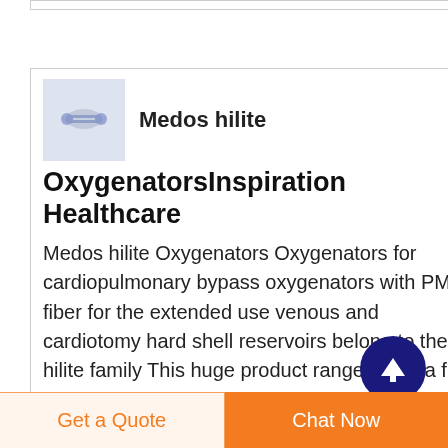[Figure (screenshot): Medical device product card showing Medos hilite oxygenators with product image thumbnail and description text]
Medos hilite
OxygenatorsInspiration Healthcare
Medos hilite Oxygenators Oxygenators for cardiopulmonary bypass oxygenators with PMP fiber for the extended use venous and cardiotomy hard shell reservoirs belong to the hilite family This huge product range offers a free choice of product combinations for all individual applications hilite oxygenators are available as
Get a Quote   Chat Now